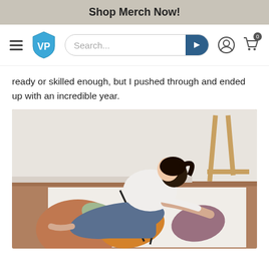Shop Merch Now!
[Figure (screenshot): Website navigation bar with hamburger menu, VP shield logo, search bar with arrow button, user account icon, and shopping cart icon with 0 badge]
ready or skilled enough, but I pushed through and ended up with an incredible year.
[Figure (photo): An artist woman wearing a white t-shirt and jeans kneeling on the floor working on a large colorful abstract painting with warm earth tones and leaf shapes]